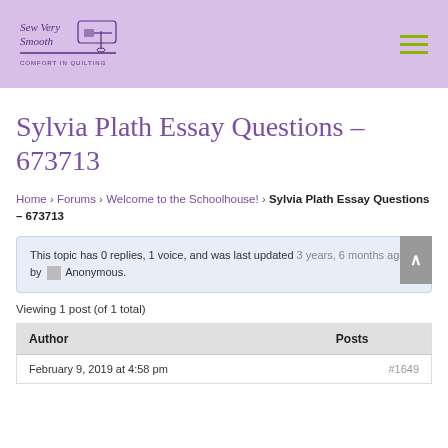[Figure (logo): Sew Very Smooth - Comfort in Quilting logo on purple header with hamburger menu icon]
Sylvia Plath Essay Questions – 673713
Home › Forums › Welcome to the Schoolhouse! › Sylvia Plath Essay Questions – 673713
This topic has 0 replies, 1 voice, and was last updated 3 years, 6 months ago by Anonymous.
Viewing 1 post (of 1 total)
| Author | Posts |
| --- | --- |
| February 9, 2019 at 4:58 pm | #1649 |